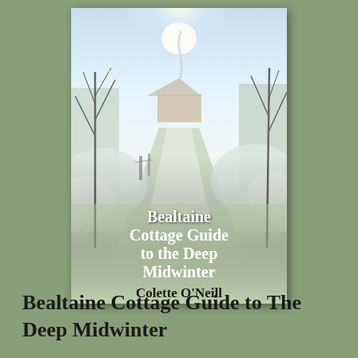[Figure (photo): Book cover of 'Bealtaine Cottage Guide to the Deep Midwinter' by Colette O'Neill, published by Bealtaine Cottage Publishing. The cover shows a snow-covered country lane or garden path with frost-covered trees and bare branches on either side, a bright winter sky, and a cottage or house visible in the background. The title text is in white serif font and the author name is in dark/black serif font at the bottom of the cover.]
Bealtaine Cottage Guide to The Deep Midwinter